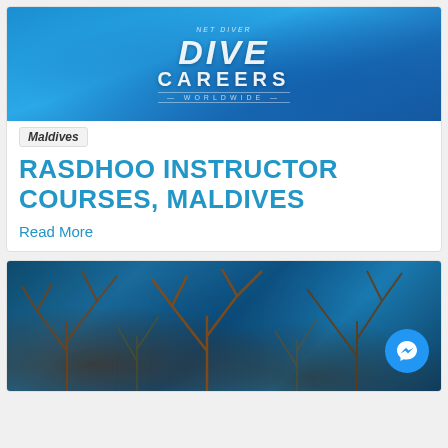[Figure (illustration): Dive Careers Worldwide banner logo on blue underwater background]
Maldives
RASDHOO INSTRUCTOR COURSES, MALDIVES
Read More
[Figure (photo): Underwater coral reef scene with blue tones and branching coral, with a Messenger chat button overlay]